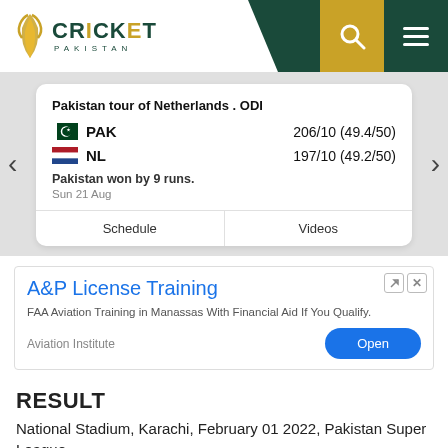Cricket Pakistan
Pakistan tour of Netherlands . ODI
PAK 206/10 (49.4/50)
NL 197/10 (49.2/50)
Pakistan won by 9 runs.
Sun 21 Aug
Schedule | Videos
[Figure (screenshot): Advertisement banner for A&P License Training by Aviation Institute with Open button]
RESULT
National Stadium, Karachi, February 01 2022, Pakistan Super League